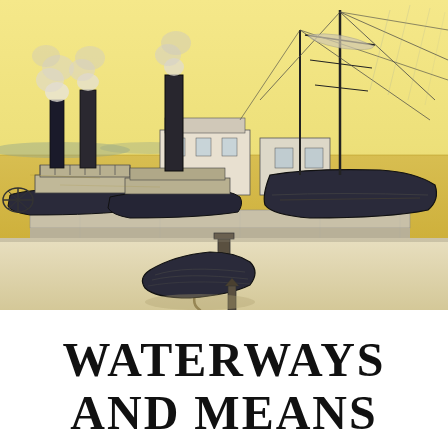[Figure (illustration): Watercolor and pencil illustration of a harbor scene with steamboats and sailing vessels docked at a wharf. The scene features two steamboats with tall smokestacks emitting smoke on the left, a large sailing ship with tall masts on the right, warehouse buildings in the background, and in the foreground a small rowboat and a mooring post on a quayside. The background sky and water are rendered in warm yellow/gold tones, while the boats and structures are in dark grey/black pencil.]
WATERWAYS AND MEANS